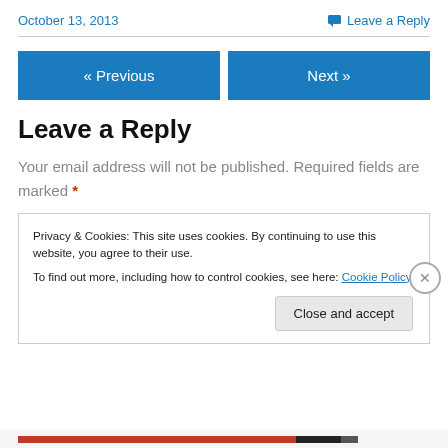October 13, 2013    Leave a Reply
« Previous    Next »
Leave a Reply
Your email address will not be published. Required fields are marked *
Privacy & Cookies: This site uses cookies. By continuing to use this website, you agree to their use.
To find out more, including how to control cookies, see here: Cookie Policy
Close and accept